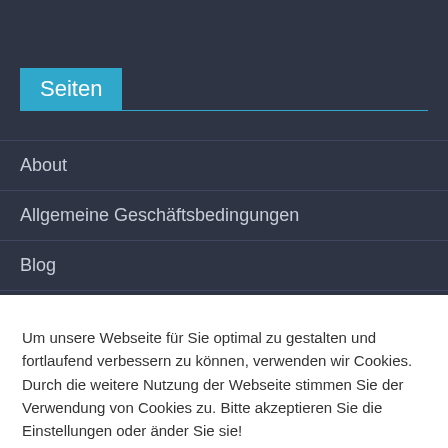Seiten
About
Allgemeine Geschäftsbedingungen
Blog
Datenschutzerklärung
Um unsere Webseite für Sie optimal zu gestalten und fortlaufend verbessern zu können, verwenden wir Cookies. Durch die weitere Nutzung der Webseite stimmen Sie der Verwendung von Cookies zu. Bitte akzeptieren Sie die Einstellungen oder änder Sie sie!
Einstellungen | Akzeptieren